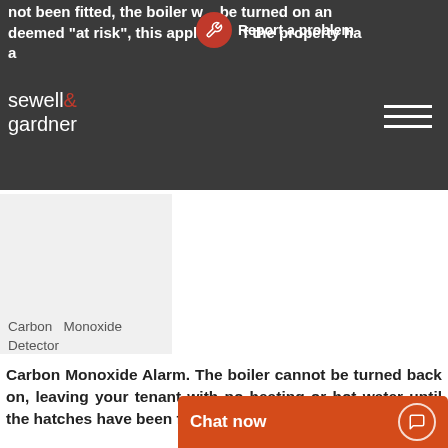not been fitted, the boiler will be turned on and deemed "at risk", this applies ... if the property has a...
[Figure (logo): Sewell & Gardner estate agents logo in white text on dark background]
Carbon Monoxide Detector
Carbon Monoxide Alarm. The boiler cannot be turned back on, leaving your tenant with no heating or hot water until the hatches have been fitted.
An audible Carbon Monoxide alarm is not an alternative to being able to see the flue, inspection hatches still need to b...
Chat now